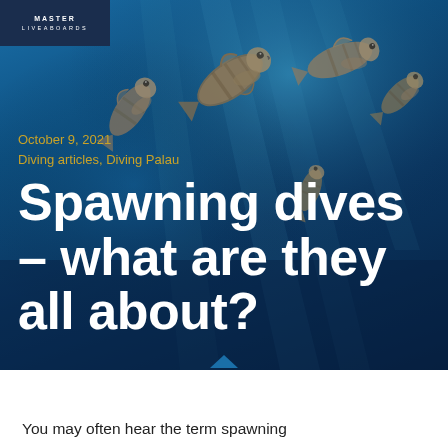MASTER LIVEABOARDS
October 9, 2021
Diving articles, Diving Palau
Spawning dives – what are they all about?
[Figure (photo): Underwater photo of fish schooling upward against a deep blue ocean background]
You may often hear the term spawning